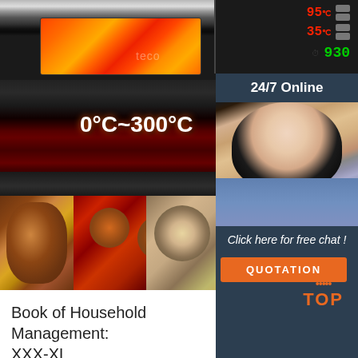[Figure (photo): Commercial pizza/baking oven with flames visible through glass window, stainless steel body, digital temperature controls on the right side showing 95°C, 35°C, and 930 timer display]
0°C~300°C
24/7 Online
[Figure (photo): Customer support representative woman with headset smiling]
Click here for free chat !
QUOTATION
[Figure (photo): Food photos: roasted chicken on the left, pizza in the middle, baked dish on the right]
TOP
Book of Household Management: XXX-XL